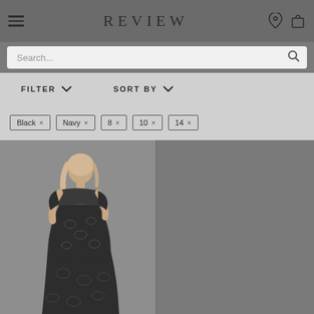REVIEW
Search...
FILTER
SORT BY
Black x
Navy x
8 x
10 x
14 x
[Figure (photo): Woman wearing a black floral lace off-shoulder midi dress, shown in a product listing on a retail website]